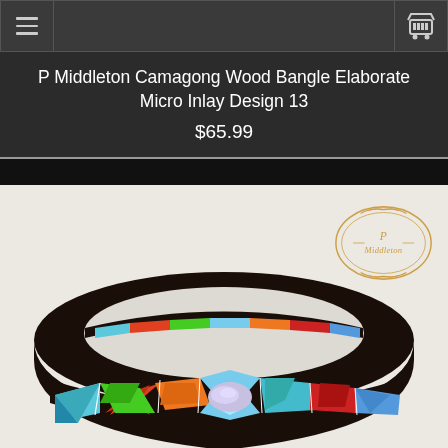Navigation bar with menu and cart
P Middleton Camagong Wood Bangle Elaborate Micro Inlay Design 13
$65.99
[Figure (photo): A dark Camagong wood bangle bracelet with colorful elaborate micro inlay design featuring geometric patterns in blue, green, red, orange, and iridescent abalone on a light background. P Middleton logo watermark in upper right.]